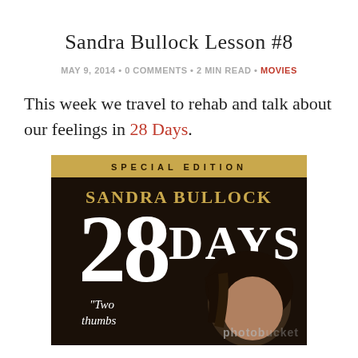Sandra Bullock Lesson #8
MAY 9, 2014  •  0 COMMENTS  •  2 MIN READ  •  MOVIES
This week we travel to rehab and talk about our feelings in 28 Days.
[Figure (photo): DVD cover of '28 Days' Special Edition featuring Sandra Bullock. The cover shows a dark background with 'SPECIAL EDITION' text at the top in gold, 'SANDRA BULLOCK' in gold letters, '28 DAYS' in large white text, a quote reading 'Two thumbs', and a photo of Sandra Bullock. A photobucket watermark is visible.]